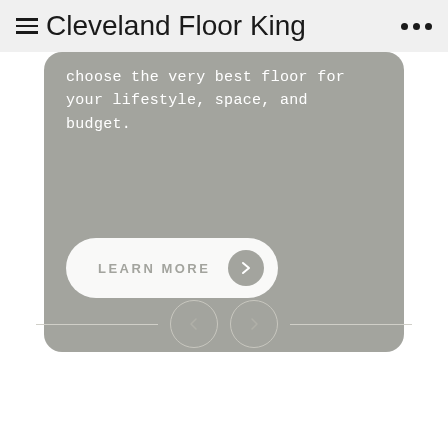Cleveland Floor King
choose the very best floor for your lifestyle, space, and budget.
[Figure (screenshot): A gray hero card with white text and a 'LEARN MORE' button with a right-arrow circle at bottom left]
[Figure (other): Carousel navigation controls: left chevron button and right chevron button with horizontal lines on either side]